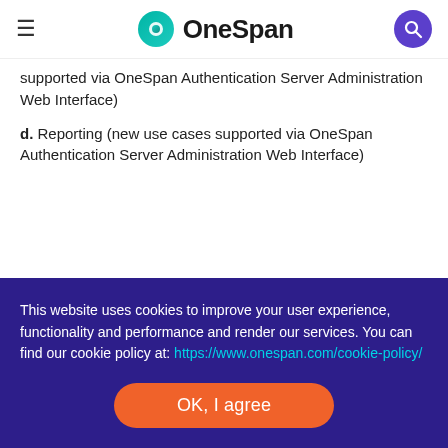OneSpan
supported via OneSpan Authentication Server Administration Web Interface)
d. Reporting (new use cases supported via OneSpan Authentication Server Administration Web Interface)
This website uses cookies to improve your user experience, functionality and performance and render our services. You can find our cookie policy at: https://www.onespan.com/cookie-policy/
OK, I agree